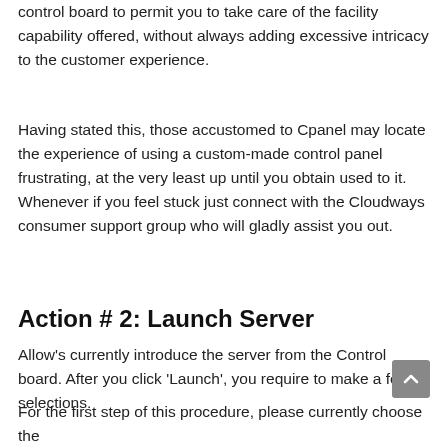control board to permit you to take care of the facility capability offered, without always adding excessive intricacy to the customer experience.
Having stated this, those accustomed to Cpanel may locate the experience of using a custom-made control panel frustrating, at the very least up until you obtain used to it. Whenever if you feel stuck just connect with the Cloudways consumer support group who will gladly assist you out.
Action # 2: Launch Server
Allow's currently introduce the server from the Control board. After you click 'Launch', you require to make a few selections.
For the first step of this procedure, please currently choose the